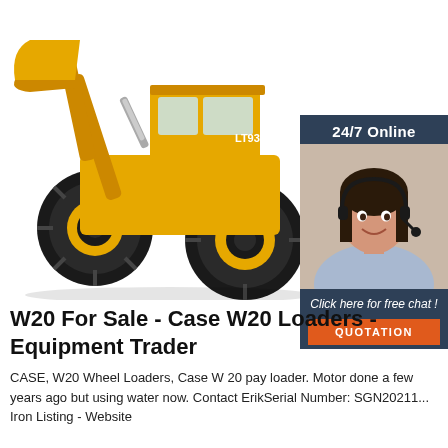[Figure (photo): Yellow wheel loader (LT938 model) construction machine with bucket raised, photographed on white background]
[Figure (infographic): 24/7 Online chat widget with dark blue background, photo of smiling woman with headset, 'Click here for free chat!' text, and orange QUOTATION button]
W20 For Sale - Case W20 Loaders - Equipment Trader
CASE, W20 Wheel Loaders, Case W 20 pay loader. Motor done a few years ago but using water now. Contact ErikSerial Number: SGN20211... Iron Listing - Website